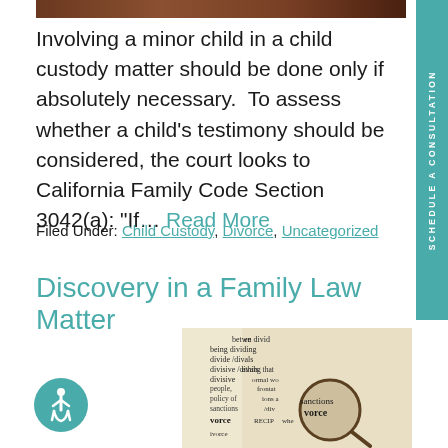[Figure (photo): Top strip of a photograph (child custody or family law related image)]
Involving a minor child in a child custody matter should be done only if absolutely necessary. To assess whether a child's testimony should be considered, the court looks to California Family Code Section 3042(a): “If… Read More
Filed Under: Child Custody, Divorce, Uncategorized
Discovery in a Family Law Matter
[Figure (photo): Open dictionary with magnifying glass focusing on words related to divorce and division]
[Figure (logo): Accessibility icon - circular teal badge with wheelchair user symbol]